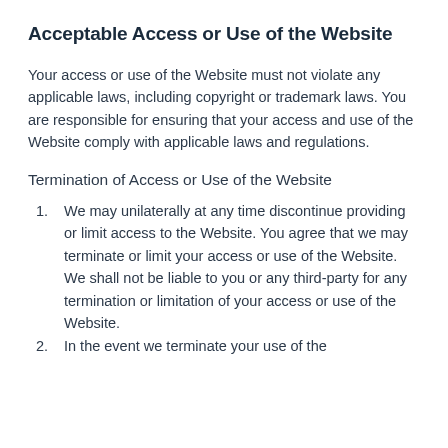Acceptable Access or Use of the Website
Your access or use of the Website must not violate any applicable laws, including copyright or trademark laws. You are responsible for ensuring that your access and use of the Website comply with applicable laws and regulations.
Termination of Access or Use of the Website
We may unilaterally at any time discontinue providing or limit access to the Website. You agree that we may terminate or limit your access or use of the Website. We shall not be liable to you or any third-party for any termination or limitation of your access or use of the Website.
In the event we terminate your use of the